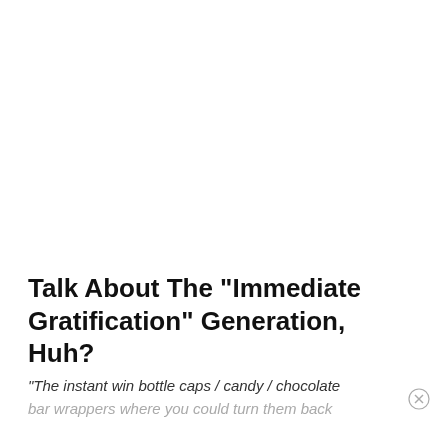Talk About The "Immediate Gratification" Generation, Huh?
"The instant win bottle caps / candy / chocolate bar wrappers where you could turn them back